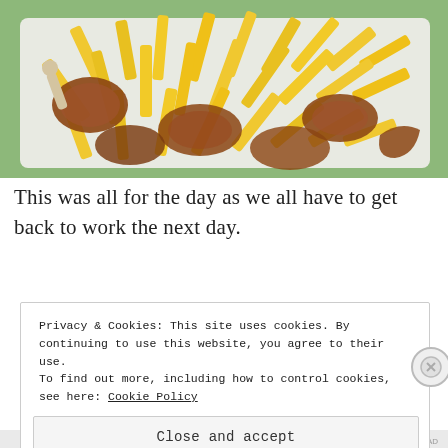[Figure (photo): Overhead photo of fried chicken pieces and yellow french fries on a white tray, with green background visible around edges.]
This was all for the day as we all have to get back to work the next day.
Privacy & Cookies: This site uses cookies. By continuing to use this website, you agree to their use.
To find out more, including how to control cookies, see here: Cookie Policy
Close and accept
REPORT THIS AD